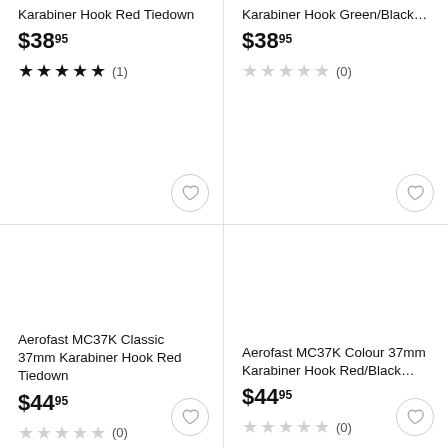Karabiner Hook Red Tiedown
$38.95
★★★★★ (1)
Karabiner Hook Green/Black…
$38.95
★☆☆☆☆ (0)
Aerofast MC37K Classic 37mm Karabiner Hook Red Tiedown
$44.95
★☆☆☆☆ (0)
Aerofast MC37K Colour 37mm Karabiner Hook Red/Black…
$44.95
★☆☆☆☆ (0)